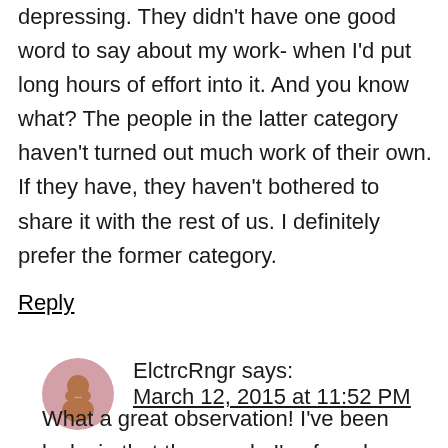depressing. They didn't have one good word to say about my work- when I'd put long hours of effort into it. And you know what? The people in the latter category haven't turned out much work of their own. If they have, they haven't bothered to share it with the rest of us. I definitely prefer the former category.
Reply
ElctrcRngr says: March 12, 2015 at 11:52 PM
What a great observation! I've been lucky in that the people I've found